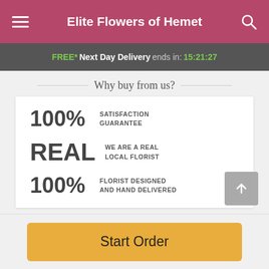Elite Flowers of Hemet
FREE* Next Day Delivery ends in: 15:21:27
Why buy from us?
100% SATISFACTION GUARANTEE
REAL WE ARE A REAL LOCAL FLORIST
100% FLORIST DESIGNED AND HAND DELIVERED
Start Order